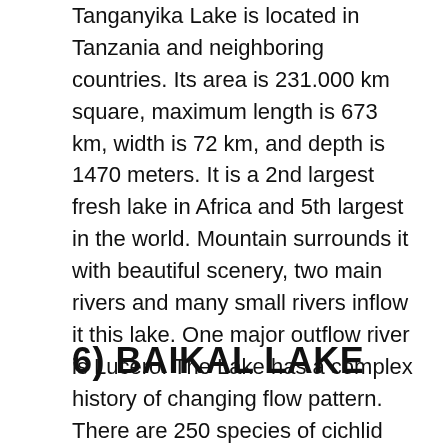Tanganyika Lake is located in Tanzania and neighboring countries. Its area is 231.000 km square, maximum length is 673 km, width is 72 km, and depth is 1470 meters. It is a 2nd largest fresh lake in Africa and 5th largest in the world. Mountain surrounds it with beautiful scenery, two main rivers and many small rivers inflow it this lake. One major outflow river is Lucero. The Lake has a complex history of changing flow pattern. There are 250 species of cichlid fish and 150 noncichlid species.
6) BAIKAL LAKE